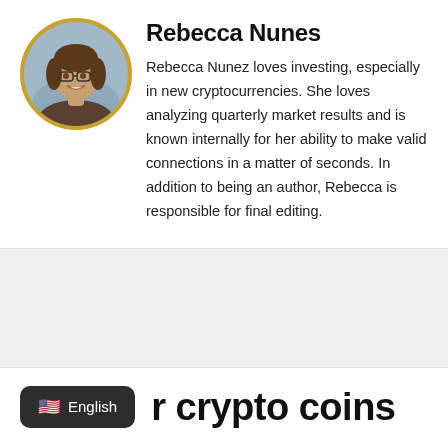[Figure (photo): Circular portrait photo of Rebecca Nunes with a gold/yellow circular border, woman with glasses smiling]
Rebecca Nunes
Rebecca Nunez loves investing, especially in new cryptocurrencies. She loves analyzing quarterly market results and is known internally for her ability to make valid connections in a matter of seconds. In addition to being an author, Rebecca is responsible for final editing.
[Figure (screenshot): Dark rounded badge with US flag emoji and text 'English' — language selector widget]
r crypto coins